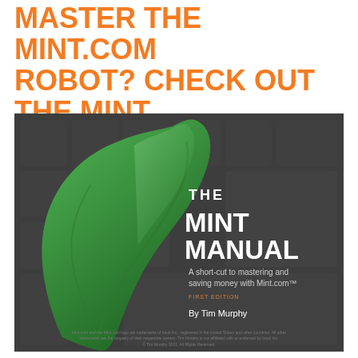MASTER THE MINT.COM ROBOT? CHECK OUT THE MINT MANUAL
[Figure (illustration): Book cover for 'The Mint Manual' by Tim Murphy — dark gray background with grid pattern, large green mint leaf on the left, white bold title text 'THE MINT MANUAL', subtitle 'A short-cut to mastering and saving money with Mint.com™', 'FIRST EDITION', 'By Tim Murphy']